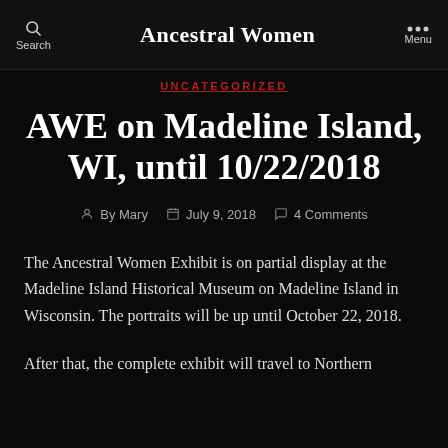Ancestral Women
UNCATEGORIZED
AWE on Madeline Island, WI, until 10/22/2018
By Mary  July 9, 2018  4 Comments
The Ancestral Women Exhibit is on partial display at the Madeline Island Historical Museum on Madeline Island in Wisconsin. The portraits will be up until October 22, 2018.
After that, the complete exhibit will travel to Northern